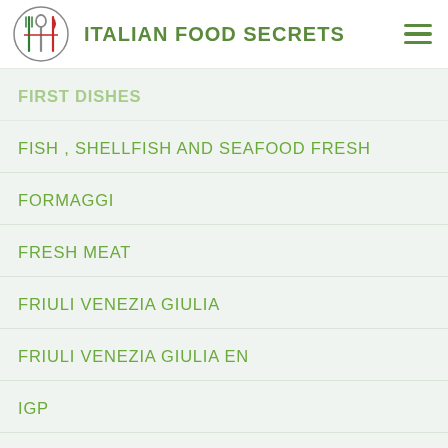ITALIAN FOOD SECRETS
FIRST DISHES
FISH , SHELLFISH AND SEAFOOD FRESH
FORMAGGI
FRESH MEAT
FRIULI VENEZIA GIULIA
FRIULI VENEZIA GIULIA EN
IGP
LAZIO
LAZIO EN